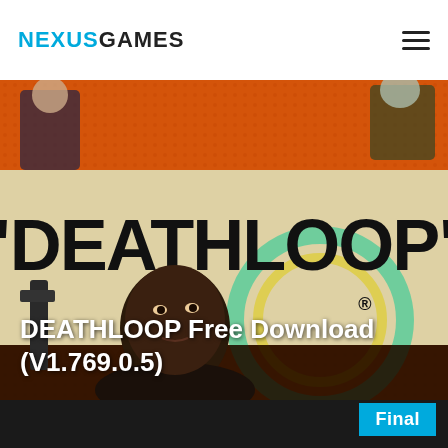NEXUSGAMES
[Figure (illustration): DEATHLOOP game promotional banner — orange and tan background with large bold 'DEATHLOOP' text in quotation marks, stylized characters in action-game art style, character portrait in lower half]
DEATHLOOP Free Download (V1.769.0.5)
Final